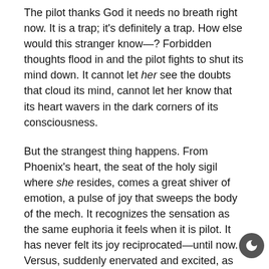The pilot thanks God it needs no breath right now. It is a trap; it's definitely a trap. How else would this stranger know—? Forbidden thoughts flood in and the pilot fights to shut its mind down. It cannot let her see the doubts that cloud its mind, cannot let her know that its heart wavers in the dark corners of its consciousness.
But the strangest thing happens. From Phoenix's heart, the seat of the holy sigil where she resides, comes a great shiver of emotion, a pulse of joy that sweeps the body of the mech. It recognizes the sensation as the same euphoria it feels when it is pilot. It has never felt its joy reciprocated—until now. Versus, suddenly enervated and excited, as she has never been.